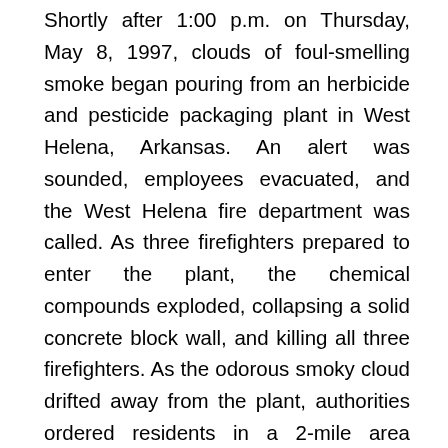Shortly after 1:00 p.m. on Thursday, May 8, 1997, clouds of foul-smelling smoke began pouring from an herbicide and pesticide packaging plant in West Helena, Arkansas. An alert was sounded, employees evacuated, and the West Helena fire department was called. As three firefighters prepared to enter the plant, the chemical compounds exploded, collapsing a solid concrete block wall, and killing all three firefighters. As the odorous smoky cloud drifted away from the plant, authorities ordered residents in a 2-mile area downwind of the plant to evacuate and those in the 2- to 3-mile zone to shelter in . . . The findings indicate that 90% of those that were told to evacuate did so but only 27% of those told to shelter-in-place did so, with 68% opting to evacuate instead. The implications of these findings for emergency managers is that people will likely choose to evacuate